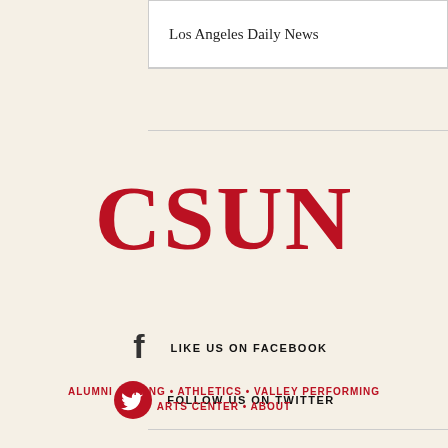Los Angeles Daily News
[Figure (logo): CSUN red bold text logo]
[Figure (infographic): Facebook icon with text LIKE US ON FACEBOOK and Twitter bird icon with text FOLLOW US ON TWITTER]
ALUMNI • GIVING • ATHLETICS • VALLEY PERFORMING ARTS CENTER • ABOUT